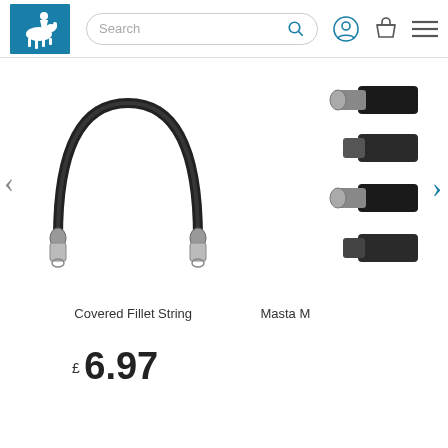Equestrian shop header with logo, search bar, and navigation icons
[Figure (photo): Covered Fillet String — a black rubber-covered arch-shaped strap with metal clips at both ends]
[Figure (photo): Masta product — four black leather straps/clips arranged vertically]
Covered Fillet String
Masta M
£ 6.97